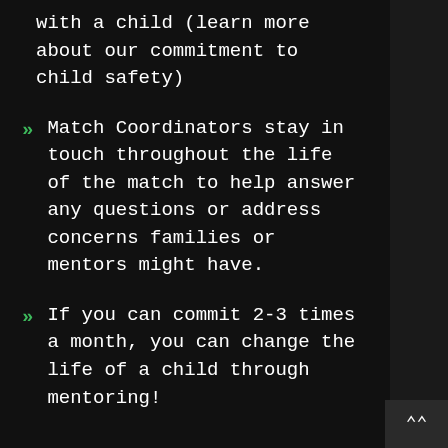with a child (learn more about our commitment to child safety)
Match Coordinators stay in touch throughout the life of the match to help answer any questions or address concerns families or mentors might have.
If you can commit 2-3 times a month, you can change the life of a child through mentoring!
For more info, visit our Be a Big or Programs pages.